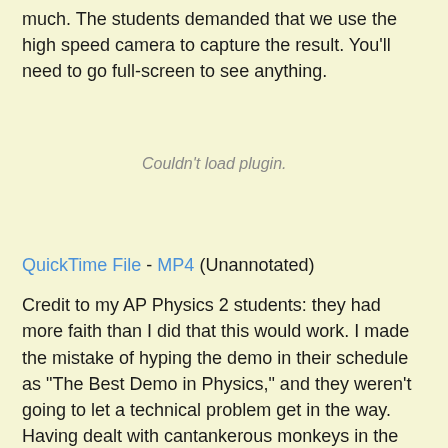much. The students demanded that we use the high speed camera to capture the result. You'll need to go full-screen to see anything.
[Figure (other): Embedded video plugin area showing 'Couldn't load plugin.' message]
QuickTime File - MP4 (Unannotated)
Credit to my AP Physics 2 students: they had more faith than I did that this would work. I made the mistake of hyping the demo in their schedule as "The Best Demo in Physics," and they weren't going to let a technical problem get in the way. Having dealt with cantankerous monkeys in the past, I didn't